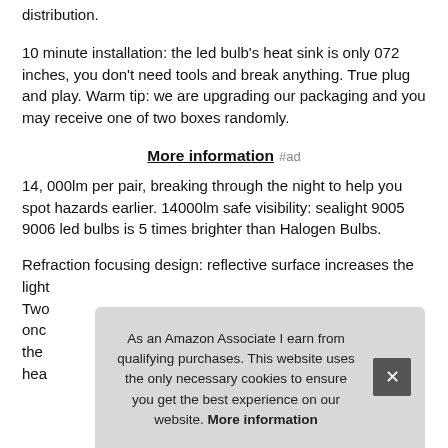distribution.
10 minute installation: the led bulb's heat sink is only 072 inches, you don't need tools and break anything. True plug and play. Warm tip: we are upgrading our packaging and you may receive one of two boxes randomly.
More information #ad
14, 000lm per pair, breaking through the night to help you spot hazards earlier. 14000lm safe visibility: sealight 9005 9006 led bulbs is 5 times brighter than Halogen Bulbs.
Refraction focusing design: reflective surface increases the light... Two... once... the... hea...
As an Amazon Associate I earn from qualifying purchases. This website uses the only necessary cookies to ensure you get the best experience on our website. More information